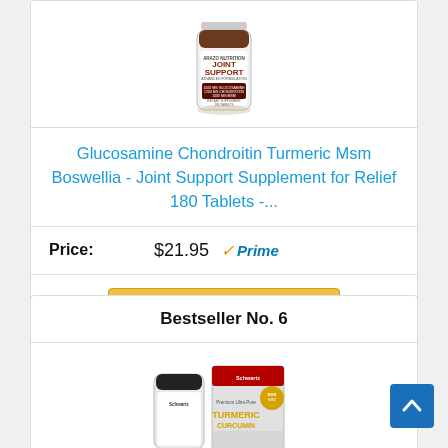[Figure (photo): Joint Support supplement bottle - Arazo Nutrition, with Glucosamine, Chondroitin, MSM, 180 tablets]
Glucosamine Chondroitin Turmeric Msm Boswellia - Joint Support Supplement for Relief 180 Tablets -...
Price: $21.95 Prime
Buy on Amazon
Bestseller No. 6
[Figure (photo): Schwartz Bioresearch Premium Ultra Pure Turmeric Curcumin supplement box and bottle]